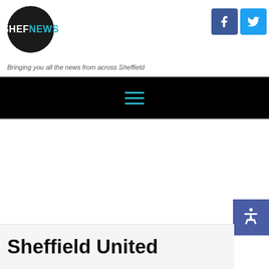[Figure (logo): ShefNews logo: black circle with white SHEF and cyan NEWS text]
[Figure (logo): Facebook icon - blue square with white f]
[Figure (logo): Twitter icon - cyan square with white bird]
Bringing you all the news from across Sheffield
[Figure (other): Black navigation bar with cyan hamburger menu icon]
[Figure (other): Accessibility wheelchair icon button, blue/purple background]
Sheffield United